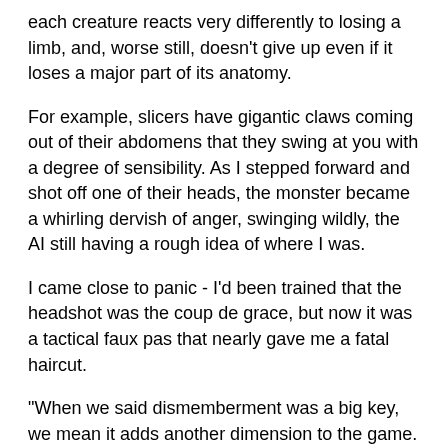each creature reacts very differently to losing a limb, and, worse still, doesn't give up even if it loses a major part of its anatomy.
For example, slicers have gigantic claws coming out of their abdomens that they swing at you with a degree of sensibility. As I stepped forward and shot off one of their heads, the monster became a whirling dervish of anger, swinging wildly, the AI still having a rough idea of where I was.
I came close to panic - I'd been trained that the headshot was the coup de grace, but now it was a tactical faux pas that nearly gave me a fatal haircut.
"When we said dismemberment was a big key, we mean it adds another dimension to the game. All of a sudden, you cut off a thing's legs, and now you need a whole animation set for crawling. What if you cut off one leg and one arm? Now you need one for that, too. When we integrated it, it was a huge technological and aesthetic challenge - if we were gonna bite this off, we